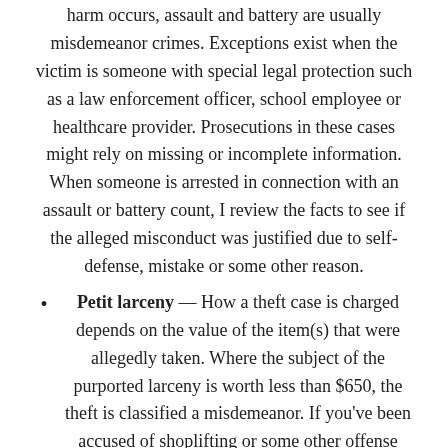harm occurs, assault and battery are usually misdemeanor crimes. Exceptions exist when the victim is someone with special legal protection such as a law enforcement officer, school employee or healthcare provider. Prosecutions in these cases might rely on missing or incomplete information. When someone is arrested in connection with an assault or battery count, I review the facts to see if the alleged misconduct was justified due to self-defense, mistake or some other reason.
Petit larceny — How a theft case is charged depends on the value of the item(s) that were allegedly taken. Where the subject of the purported larceny is worth less than $650, the theft is classified a misdemeanor. If you've been accused of shoplifting or some other offense relating to the unlawful taking of property,